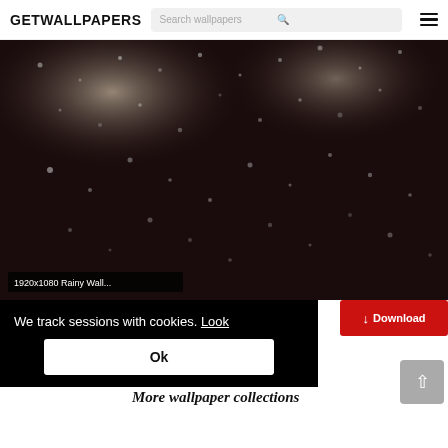GETWALLPAPERS
[Figure (screenshot): Search bar with placeholder text 'Search wallpapers' and a search icon]
[Figure (photo): Rainy window wallpaper, dark moody photo with water droplets on glass]
1920x1080 Rainy Wall...
We track sessions with cookies. Look
Ok
Download
More wallpaper collections